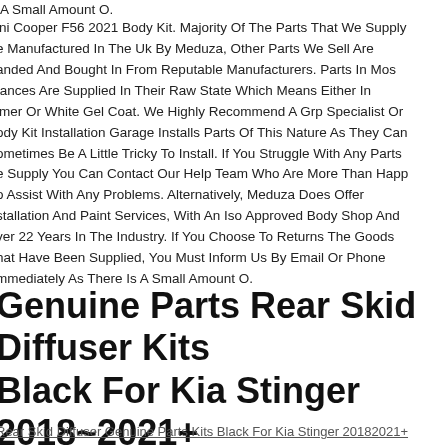A Small Amount O.
ini Cooper F56 2021 Body Kit. Majority Of The Parts That We Supply Are Manufactured In The Uk By Meduza, Other Parts We Sell Are Branded And Bought In From Reputable Manufacturers. Parts In Most Instances Are Supplied In Their Raw State Which Means Either In Primer Or White Gel Coat. We Highly Recommend A Grp Specialist Or Body Kit Installation Garage Installs Parts Of This Nature As They Can Sometimes Be A Little Tricky To Install. If You Struggle With Any Parts We Supply You Can Contact Our Help Team Who Are More Than Happy To Assist With Any Problems. Alternatively, Meduza Does Offer Installation And Paint Services, With An Iso Approved Body Shop And Over 22 Years In The Industry. If You Choose To Returns The Goods That Have Been Supplied, You Must Inform Us By Email Or Phone Immediately As There Is A Small Amount O.
Genuine Parts Rear Skid Diffuser Kits Black For Kia Stinger 2018~2021+
Rear Skid Diffuser Genuine Parts Kits Black For Kia Stinger 20182021+